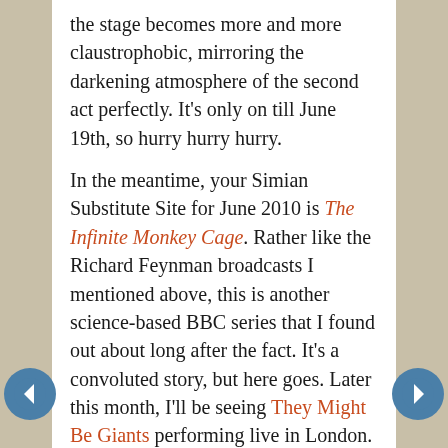the stage becomes more and more claustrophobic, mirroring the darkening atmosphere of the second act perfectly. It's only on till June 19th, so hurry hurry hurry.
In the meantime, your Simian Substitute Site for June 2010 is The Infinite Monkey Cage. Rather like the Richard Feynman broadcasts I mentioned above, this is another science-based BBC series that I found out about long after the fact. It's a convoluted story, but here goes. Later this month, I'll be seeing They Might Be Giants performing live in London. The show's part of See Further, a festival of science and arts to celebrate the 350th birthday of the Royal Society. (Why are TMBG playing there? Their second show may give you a clue.)